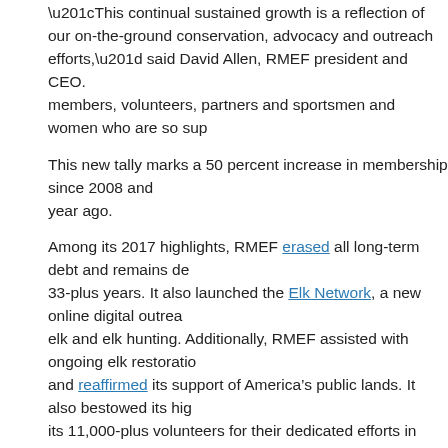“This continual sustained growth is a reflection of our on-the-ground conservation, advocacy and outreach efforts,” said David Allen, RMEF president and CEO. “Thank you to our members, volunteers, partners and sportsmen and women who are so supportive.”
This new tally marks a 50 percent increase in membership since 2008 and a 3 percent increase from a year ago.
Among its 2017 highlights, RMEF erased all long-term debt and remains debt-free after 33-plus years. It also launched the Elk Network, a new online digital outreach platform focused on elk and elk hunting. Additionally, RMEF assisted with ongoing elk restoration and reintroduction efforts and reaffirmed its support of America’s public lands. It also bestowed its highest volunteer honor on its 11,000-plus volunteers for their dedicated efforts in boosting RMEF’s mission.
“While we value and appreciate this record growth trend, RMEF vows to do even more to accelerate our conservation mission of ensuring the future elk, other wildlife, their habitat and our hunting heritage,” added Allen.
Since 1984, RMEF and its partners completed more than 11,000 conservation and hunting outreach projects with a combined value of more than $1.1 billion. These projects protected or enhanced 7.2 million acres of habitat and opened or secured public access to more than 1.3 million acres.
You may also like -
RMEF Marks 8th Consecutive Year of
RMEF Records All-Time Membership High
RMEF Soars to Six Consecutive Year